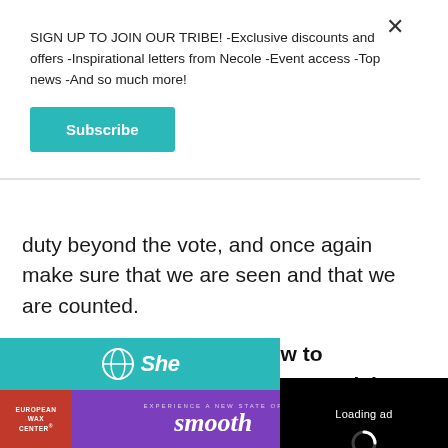SIGN UP TO JOIN OUR TRIBE! -Exclusive discounts and offers -Inspirational letters from Necole -Event access -Top news -And so much more!
[Figure (other): Subscribe button - teal/cyan colored rectangular button with white bold text 'Subscribe']
duty beyond the vote, and once again make sure that we are seen and that we are counted.
To find out more abo... be counted in the 2... MyBlackCounts.org.
[Figure (screenshot): Black video ad overlay showing 'Loading ad' text with a spinning loader icon and video player controls (pause, fullscreen, mute) at the bottom]
[Figure (other): Teal banner at bottom of page with partial logo/text visible]
[Figure (other): Bottom advertisement banner for European Wax Center with purple background, red left panel, 'smooth' text in white italic, and 'FIRST WAX free - BOOK NOW' button on right]